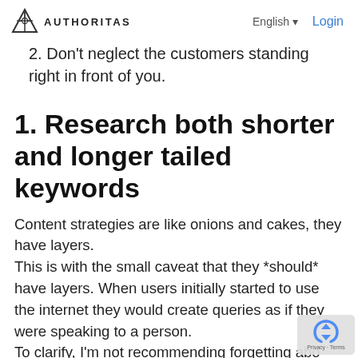AUTHORITAS   English ▾   Login
2. Don't neglect the customers standing right in front of you.
1. Research both shorter and longer tailed keywords
Content strategies are like onions and cakes, they have layers.
This is with the small caveat that they *should* have layers. When users initially started to use the internet they would create queries as if they were speaking to a person.
To clarify, I'm not recommending forgetting abo… your other content strategies in place and solely